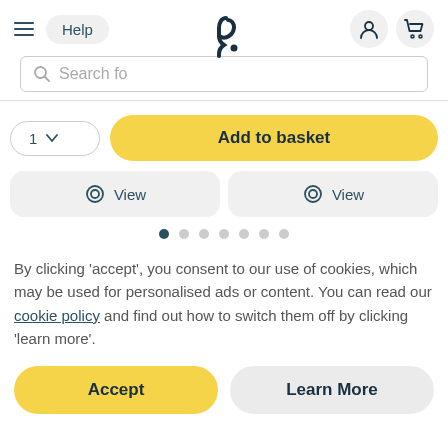[Figure (screenshot): Website header with hamburger menu, Help button, logo (stylized h.), person icon, and basket icon]
[Figure (screenshot): Search bar with magnifying glass icon and placeholder text 'Search fo']
[Figure (screenshot): Add to basket row: quantity selector showing '1' with dropdown chevron, and yellow 'Add to basket' button]
[Figure (screenshot): Two grey rounded cards each with an eye icon and 'View' label]
[Figure (screenshot): Carousel dots: first dot dark/active, six more grey dots]
By clicking 'accept', you consent to our use of cookies, which may be used for personalised ads or content. You can read our cookie policy and find out how to switch them off by clicking 'learn more'.
[Figure (screenshot): Two buttons: yellow 'Accept' button on the left, grey 'Learn More' button on the right]